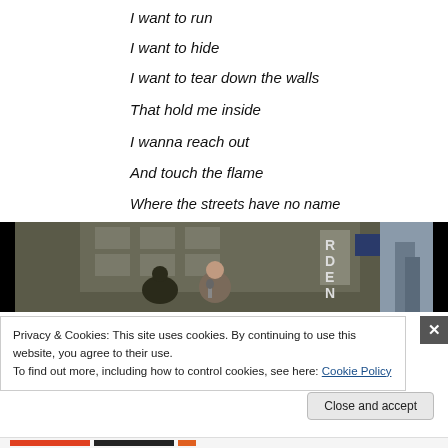I want to run
I want to hide
I want to tear down the walls
That hold me inside
I wanna reach out
And touch the flame
Where the streets have no name
[Figure (screenshot): Video player screenshot showing people on a city street, with letters R D E N visible on a sign in the background]
Privacy & Cookies: This site uses cookies. By continuing to use this website, you agree to their use.
To find out more, including how to control cookies, see here: Cookie Policy
Close and accept